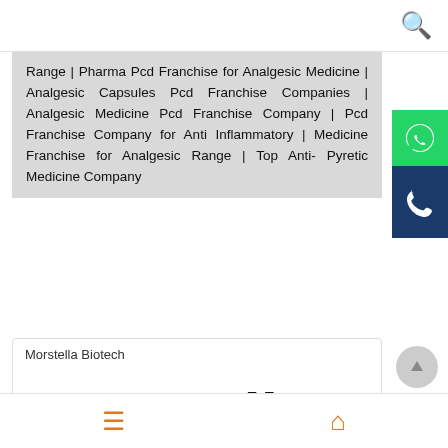Range | Pharma Pcd Franchise for Analgesic Medicine | Analgesic Capsules Pcd Franchise Companies | Analgesic Medicine Pcd Franchise Company | Pcd Franchise Company for Anti Inflammatory | Medicine Franchise for Analgesic Range | Top Anti- Pyretic Medicine Company
[Figure (logo): WhatsApp green icon button on right side]
[Figure (logo): Phone call dark blue icon button on right side]
Morstella Biotech
[Figure (logo): Morstella Biotech logo — 'mor' in green and 'stella' in black bold text]
[Figure (other): Back to top circular grey button with up arrow]